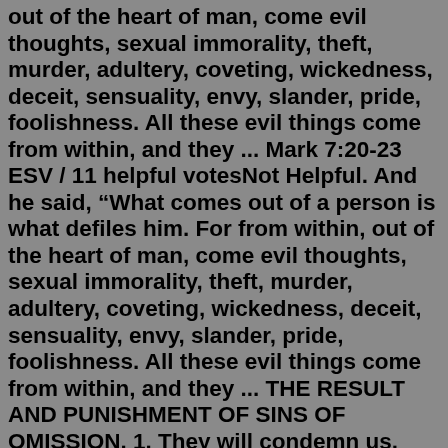out of the heart of man, come evil thoughts, sexual immorality, theft, murder, adultery, coveting, wickedness, deceit, sensuality, envy, slander, pride, foolishness. All these evil things come from within, and they ... Mark 7:20-23 ESV / 11 helpful votesNot Helpful. And he said, “What comes out of a person is what defiles him. For from within, out of the heart of man, come evil thoughts, sexual immorality, theft, murder, adultery, coveting, wickedness, deceit, sensuality, envy, slander, pride, foolishness. All these evil things come from within, and they ... THE RESULT AND PUNISHMENT OF SINS OF OMISSION. 1. They will condemn us. "The King shall say, I was hungered and ye gave Me no meat," etc. The absence of virtue rather than the presence of vice condemned them. "Without holiness no man shall see the Lord." 2. If persevered in, they will effectually shut against us the possibilities of pardon. 71. Vice and Sin . 1. A sin is a human act (that is, a deliberate thought,word, deed, desire, omission ) contrary to right reason, andtherefore contrary to